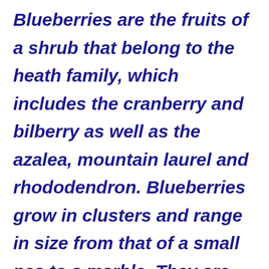Blueberries are the fruits of a shrub that belong to the heath family, which includes the cranberry and bilberry as well as the azalea, mountain laurel and rhododendron. Blueberries grow in clusters and range in size from that of a small pea to a marble. They are deep in color, ranging from blue to maroon to purple-black, and feature a white-gray waxy “bloom” that covers the surface